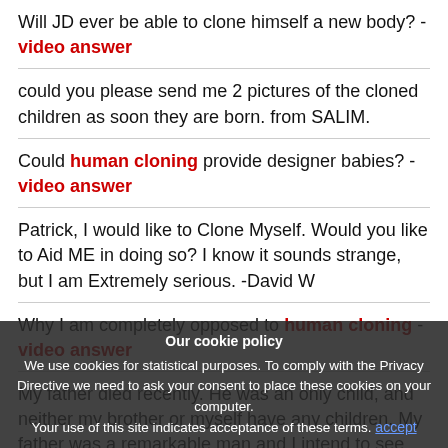Will JD ever be able to clone himself a new body? - video answer
could you please send me 2 pictures of the cloned children as soon they are born. from SALIM.
Could human cloning provide designer babies? - video answer
Patrick, I would like to Clone Myself. Would you like to Aid ME in doing so? I know it sounds strange, but I am Extremely serious. -David W
Why I am completely opposed to human cloning - video answer
My father died recently. He was an only child, and neither my brother or myself have any children. My father was a remarkable man and I intend to see that he goes on in this world. I have been told by our surrounding me to be myself cloned, though I would not do this for myself. I need to know steps that need to be taken at this time reference. Can you give me basic information? Thanks, Dianne
Our cookie policy
We use cookies for statistical purposes. To comply with the Privacy Directive we need to ask your consent to place these cookies on your computer.
Your use of this site indicates acceptance of these terms.
accept